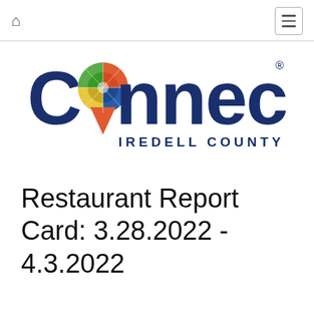Connect Iredell County — navigation bar with home icon and menu button
[Figure (logo): Connect Iredell County logo: large dark blue 'Connect' text with a colorful mosaic map-pin replacing the letter 'o', and 'IREDELL COUNTY' in spaced dark blue capital letters beneath]
Restaurant Report Card: 3.28.2022 - 4.3.2022